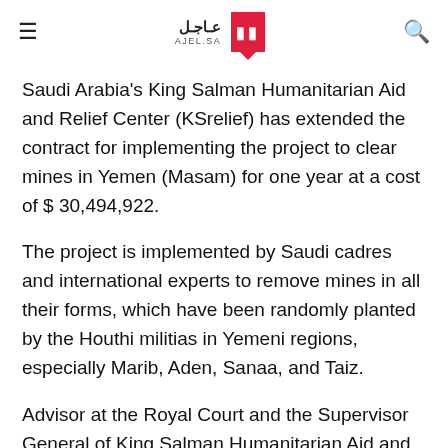AJEL.SA (logo with Arabic text عاجل)
Saudi Arabia's King Salman Humanitarian Aid and Relief Center (KSrelief) has extended the contract for implementing the project to clear mines in Yemen (Masam) for one year at a cost of $ 30,494,922.
The project is implemented by Saudi cadres and international experts to remove mines in all their forms, which have been randomly planted by the Houthi militias in Yemeni regions, especially Marib, Aden, Sanaa, and Taiz.
Advisor at the Royal Court and the Supervisor General of King Salman Humanitarian Aid and